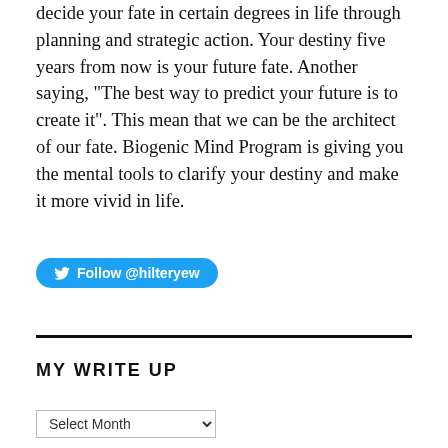decide your fate in certain degrees in life through planning and strategic action. Your destiny five years from now is your future fate. Another saying, "The best way to predict your future is to create it". This mean that we can be the architect of our fate. Biogenic Mind Program is giving you the mental tools to clarify your destiny and make it more vivid in life.
[Figure (other): Twitter follow button with bird icon reading 'Follow @hilteryew']
MY WRITE UP
Select Month